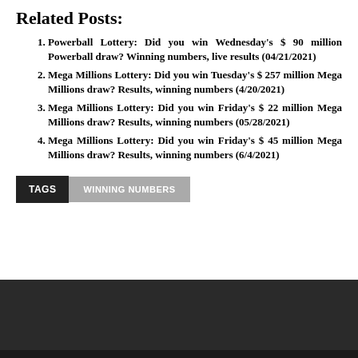Related Posts:
Powerball Lottery: Did you win Wednesday's $ 90 million Powerball draw? Winning numbers, live results (04/21/2021)
Mega Millions Lottery: Did you win Tuesday's $ 257 million Mega Millions draw? Results, winning numbers (4/20/2021)
Mega Millions Lottery: Did you win Friday's $ 22 million Mega Millions draw? Results, winning numbers (05/28/2021)
Mega Millions Lottery: Did you win Friday's $ 45 million Mega Millions draw? Results, winning numbers (6/4/2021)
TAGS  WINNING NUMBERS
TERMS AND CONDITIONS   PRIVACY POLICY